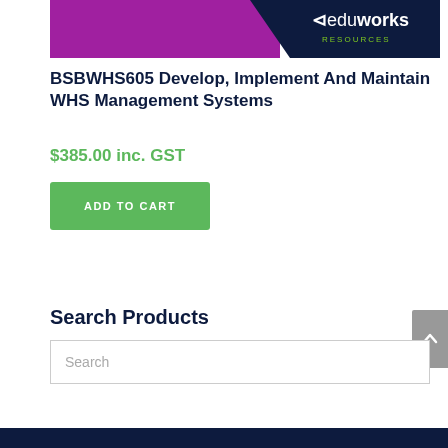[Figure (screenshot): Eduworks Resources banner — purple and dark navy background with 'eduworks RESOURCES' logo on the right side]
BSBWHS605 Develop, Implement And Maintain WHS Management Systems
$385.00 inc. GST
ADD TO CART
Search Products
Search